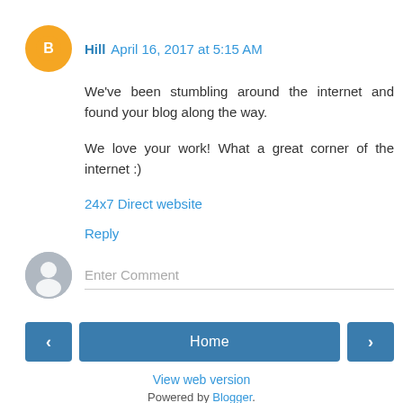Hill April 16, 2017 at 5:15 AM
We've been stumbling around the internet and found your blog along the way.

We love your work! What a great corner of the internet :)
24x7 Direct website
Reply
Enter Comment
< Home >
View web version
Powered by Blogger.